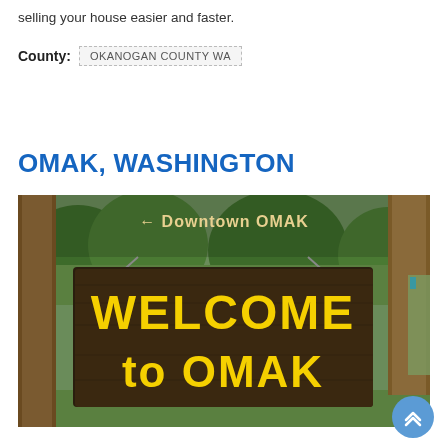selling your house easier and faster.
County: OKANOGAN COUNTY WA
OMAK, WASHINGTON
[Figure (photo): A wooden welcome sign reading 'WELCOME to OMAK' with yellow lettering on a dark wood background, hung from a rustic post structure. A smaller sign above reads '← Downtown OMAK'. Trees and green grass visible in background.]